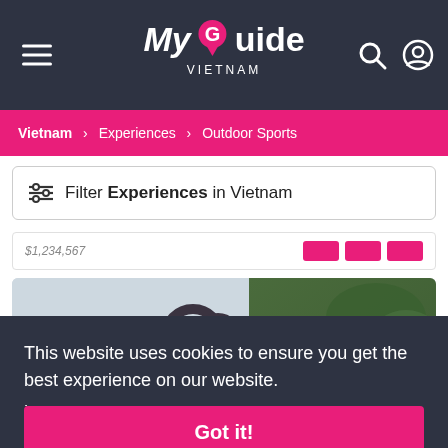My Guide Vietnam
Vietnam > Experiences > Outdoor Sports
Filter Experiences in Vietnam
[Figure (screenshot): Partial card row showing a price and three pink buttons]
[Figure (photo): Photo showing a mountain/sky scene on the left, a dark sculptural keyhole-shaped artwork in center, and green trees on the right. Bottom right shows a + icon, text 'Coc' and 'ip...']
This website uses cookies to ensure you get the best experience on our website.
Learn more
Got it!